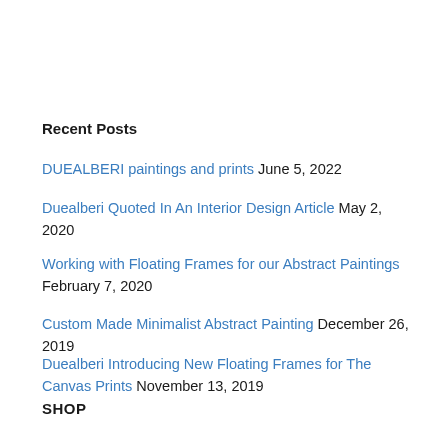Recent Posts
DUEALBERI paintings and prints June 5, 2022
Duealberi Quoted In An Interior Design Article May 2, 2020
Working with Floating Frames for our Abstract Paintings February 7, 2020
Custom Made Minimalist Abstract Painting December 26, 2019
Duealberi Introducing New Floating Frames for The Canvas Prints November 13, 2019
SHOP